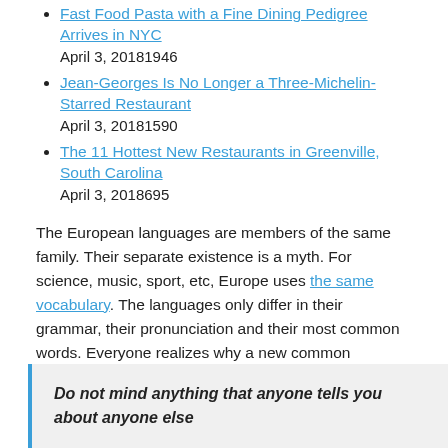Fast Food Pasta with a Fine Dining Pedigree Arrives in NYC
April 3, 20181946
Jean-Georges Is No Longer a Three-Michelin-Starred Restaurant
April 3, 20181590
The 11 Hottest New Restaurants in Greenville, South Carolina
April 3, 2018695
The European languages are members of the same family. Their separate existence is a myth. For science, music, sport, etc, Europe uses the same vocabulary. The languages only differ in their grammar, their pronunciation and their most common words. Everyone realizes why a new common language.
Do not mind anything that anyone tells you about anyone else